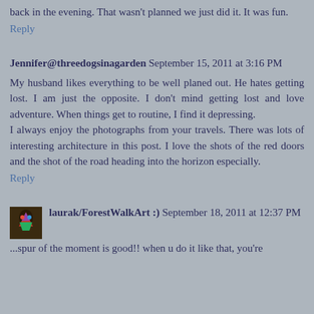back in the evening. That wasn't planned we just did it. It was fun.
Reply
Jennifer@threedogsinagarden September 15, 2011 at 3:16 PM
My husband likes everything to be well planed out. He hates getting lost. I am just the opposite. I don't mind getting lost and love adventure. When things get to routine, I find it depressing.
I always enjoy the photographs from your travels. There was lots of interesting architecture in this post. I love the shots of the red doors and the shot of the road heading into the horizon especially.
Reply
laurak/ForestWalkArt :) September 18, 2011 at 12:37 PM
...spur of the moment is good!! when u do it like that, you're